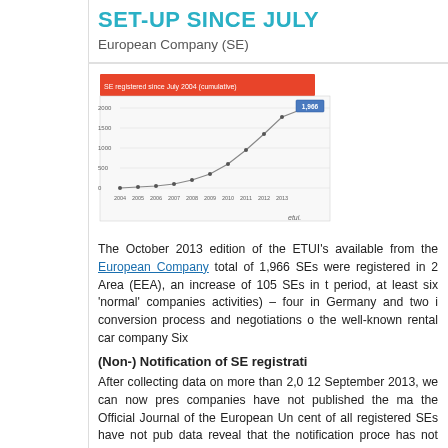SET-UP SINCE JULY
European Company (SE)
[Figure (line-chart): Line chart showing growth of SE registrations over time, with a value of 1,966 highlighted at the end of the curve. Red bar at top, ascending line chart below.]
The October 2013 edition of the ETUI's available from the European Company total of 1,966 SEs were registered in 2 Area (EEA), an increase of 105 SEs in t period, at least six 'normal' companies activities) – four in Germany and two i conversion process and negotiations o the well-known rental car company Six
(Non-) Notification of SE registrati
After collecting data on more than 2,0 12 September 2013, we can now pres companies have not published the ma the Official Journal of the European Un cent of all registered SEs have not pub data reveal that the notification proce has not passed the test of practice. m